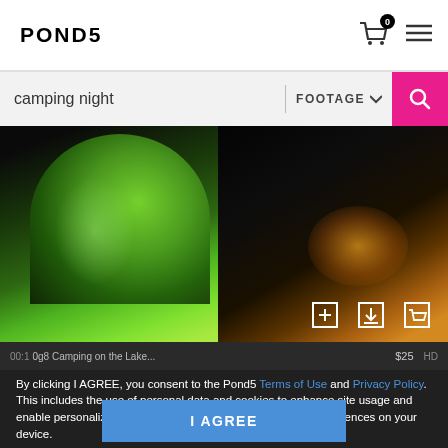POND5
camping night | FOOTAGE
[Figure (screenshot): Video thumbnail showing a green camping tent on the left side and a dark campfire scene on the right, with video control icons (add, download, cart) at bottom right.]
00:1_ 0g9 Camping on the Lake...
HD  $25
By clicking I AGREE, you consent to the Pond5 Terms of Use and Privacy Policy. This includes the use of personal data and cookies to enhance site usage and enable personalized ads. See our Policy to change cookie preferences on your device.
I AGREE